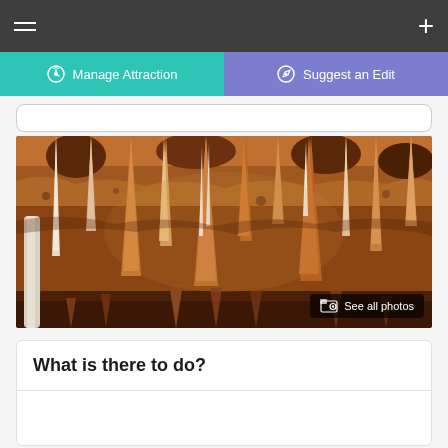☰  +
Manage Attraction  |  Suggest an Edit
[Figure (photo): Interior of a cave with stalactites and stalagmites in shades of brown, orange, and white. A 'See all photos' button overlay appears in the bottom right corner.]
See all photos
What is there to do?